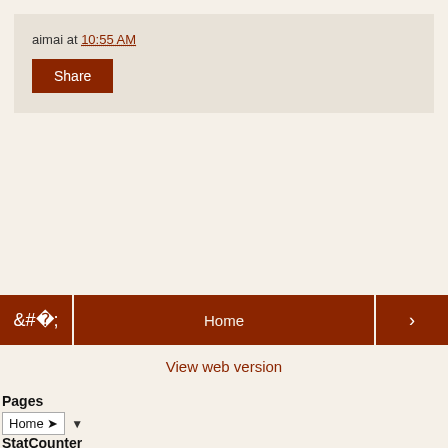aimai at 10:55 AM
Share
‹
Home
›
View web version
Pages
Home ▾ ▼
StatCounter